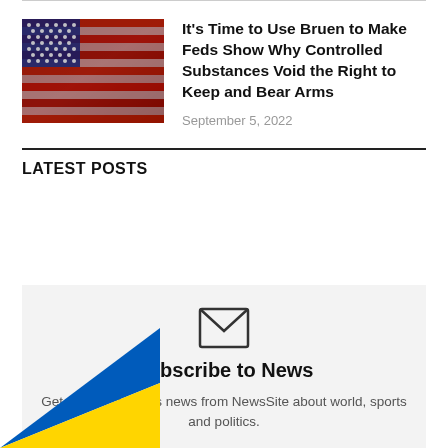[Figure (photo): American flag with artistic distressed effect in red, white, and blue]
It's Time to Use Bruen to Make Feds Show Why Controlled Substances Void the Right to Keep and Bear Arms
September 5, 2022
LATEST POSTS
[Figure (illustration): Email envelope icon]
Subscribe to News
Get the latest sports news from NewsSite about world, sports and politics.